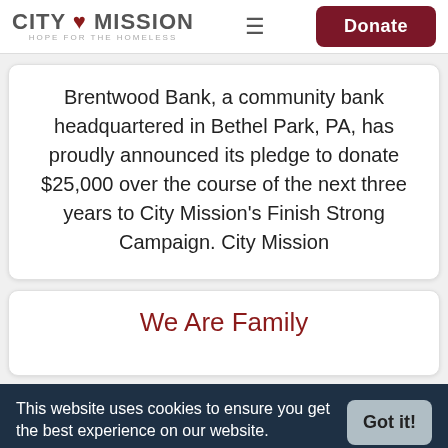CITY MISSION HOPE FOR THE HOMELESS | Donate
Brentwood Bank, a community bank headquartered in Bethel Park, PA, has proudly announced its pledge to donate $25,000 over the course of the next three years to City Mission's Finish Strong Campaign. City Mission
We Are Family
This website uses cookies to ensure you get the best experience on our website. Learn more
0 SHARES